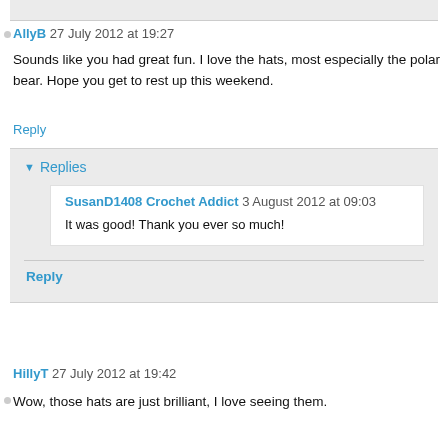AllyB 27 July 2012 at 19:27
Sounds like you had great fun. I love the hats, most especially the polar bear. Hope you get to rest up this weekend.
Reply
Replies
SusanD1408 Crochet Addict 3 August 2012 at 09:03
It was good! Thank you ever so much!
Reply
HillyT 27 July 2012 at 19:42
Wow, those hats are just brilliant, I love seeing them.